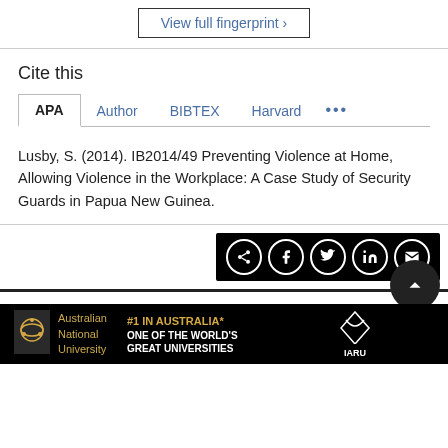View full fingerprint ›
Cite this
APA  Author  BIBTEX  Harvard  ...
Lusby, S. (2014). IB2014/49 Preventing Violence at Home, Allowing Violence in the Workplace: A Case Study of Security Guards in Papua New Guinea.
[Figure (other): Social share bar with icons: share, Facebook, Twitter, LinkedIn, email]
[Figure (logo): Australian National University footer banner with '#1 IN AUSTRALIA* ONE OF THE WORLD'S GREAT UNIVERSITIES' and IARU logo]